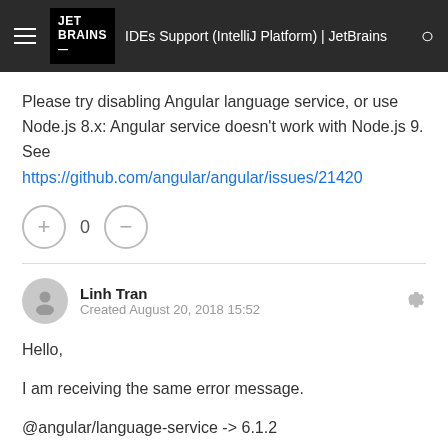IDEs Support (IntelliJ Platform) | JetBrains
Please try disabling Angular language service, or use Node.js 8.x: Angular service doesn't work with Node.js 9. See https://github.com/angular/angular/issues/21420
0
Linh Tran
Created August 20, 2018 15:52
Hello,
I am receiving the same error message.
@angular/language-service -> 6.1.2